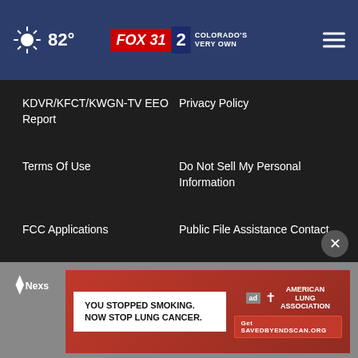82° FOX 31 2 COLORADO'S VERY OWN
KDVR/KFCT/KWGN-TV EEO Report
Privacy Policy
Terms Of Use
Do Not Sell My Personal Information
FCC Applications
Public File Assistance Contact
The Hill
NewsNation
BestReviews
Content Licensing
Nexstar Digital
[Figure (screenshot): Advertisement banner: YOU STOPPED SMOKING. NOW STOP LUNG CANCER. American Lung Association. Get savedbyendscan.org]
Nexstar logo footer